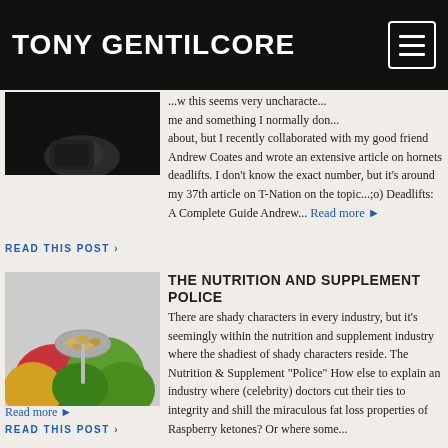TONY GENTILCORE
[Figure (photo): Dark background photo with a foot/boot on ground]
...w this seems very uncharacte... me and something I normally don... about, but I recently collaborated with my good friend Andrew Coates and wrote an extensive article on hornets deadlifts. I don't know the exact number, but it's around my 37th article on T-Nation on the topic...;o) Deadlifts: A Complete Guide Andrew... Read more ▶
READ THIS POST ›
THE NUTRITION AND SUPPLEMENT POLICE
[Figure (photo): Photo of apples (red, green, yellow) with a spoon of supplement capsules/pills in foreground]
There are shady characters in every industry, but it's seemingly within the nutrition and supplement industry where the shadiest of shady characters reside. The Nutrition & Supplement "Police" How else to explain an industry where (celebrity) doctors cut their ties to integrity and shill the miraculous fat loss properties of Raspberry ketones? Or where some...
Read more ▶
READ THIS POST ›